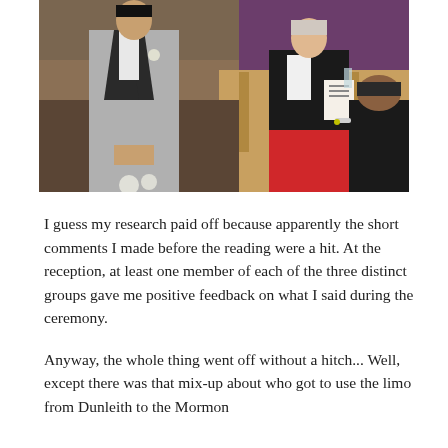[Figure (photo): Wedding ceremony scene: a man in a grey tuxedo with bow tie and boutonniere stands at the altar, a woman in a black jacket and red skirt reads from papers, and another person in a dark suit is partially visible in the foreground. Church interior with wooden pews and purple accents visible in background.]
I guess my research paid off because apparently the short comments I made before the reading were a hit.  At the reception, at least one member of each of the three distinct groups gave me positive feedback on what I said during the ceremony.
Anyway, the whole thing went off without a hitch... Well, except there was that mix-up about who got to use the limo from Dunleith to the Mormon